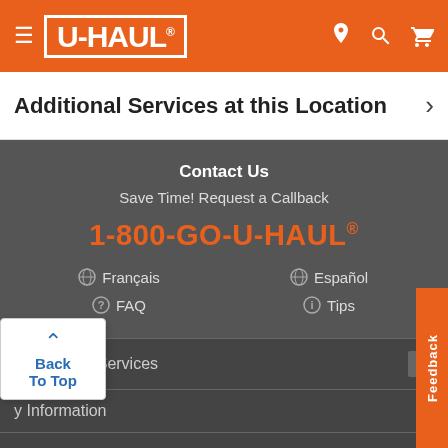U-HAUL navigation header with hamburger menu, logo, location, search, and cart icons
Additional Services at this Location
Contact Us
Save Time! Request a Callback
1-800-GO-U-HAUL®
Français
Español
FAQ
Tips
Products & Services
y Information
areers
Partner With Us
Back To Top
Feedback